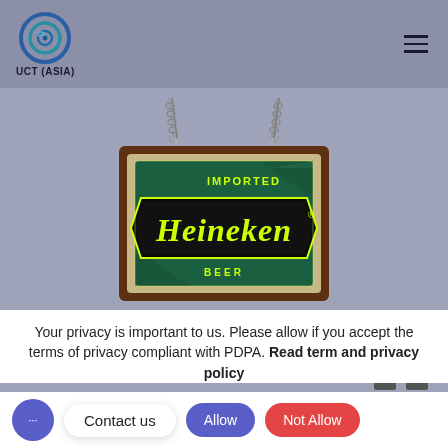[Figure (logo): UCT (ASIA) circular logo with blue/teal concentric ring design]
[Figure (photo): Illuminated Heineken 'IMPORTED BEER' hanging bar sign with wooden frame suspended by chains, yellow-green neon text on dark green background]
Your privacy is important to us. Please allow if you accept the terms of privacy compliant with PDPA. Read term and privacy policy
Contact us
Allow
Not Allow